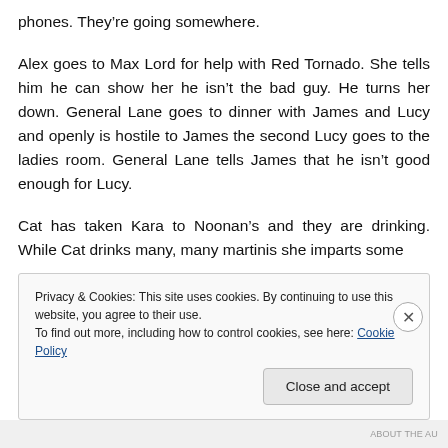phones. They’re going somewhere.
Alex goes to Max Lord for help with Red Tornado. She tells him he can show her he isn’t the bad guy. He turns her down. General Lane goes to dinner with James and Lucy and openly is hostile to James the second Lucy goes to the ladies room. General Lane tells James that he isn’t good enough for Lucy.
Cat has taken Kara to Noonan’s and they are drinking. While Cat drinks many, many martinis she imparts some
Privacy & Cookies: This site uses cookies. By continuing to use this website, you agree to their use.
To find out more, including how to control cookies, see here: Cookie Policy
Close and accept